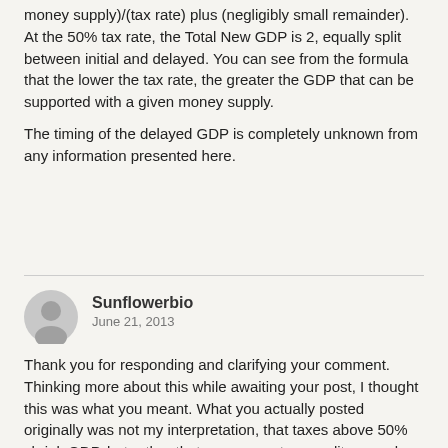money supply)/(tax rate) plus (negligibly small remainder). At the 50% tax rate, the Total New GDP is 2, equally split between initial and delayed. You can see from the formula that the lower the tax rate, the greater the GDP that can be supported with a given money supply.
The timing of the delayed GDP is completely unknown from any information presented here.
Sunflowerbio
June 21, 2013
Thank you for responding and clarifying your comment. Thinking more about this while awaiting your post, I thought this was what you meant. What you actually posted originally was not my interpretation, that taxes above 50% shrink GDP, but rather that government expenditures only increase it by diminishing amounts as taxes increase. Even at 90% taxes, GDP is increased by about 11% after the money works its way through the economy and the government has recovered its original investment through taxation for an amount of about $1/9...